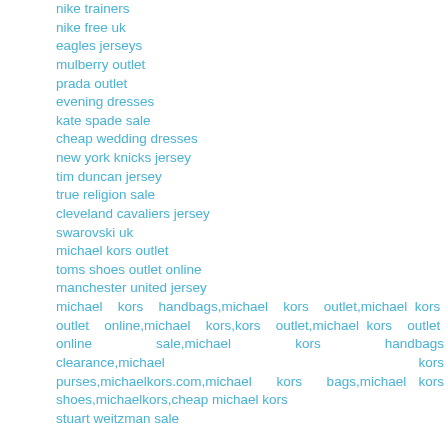nike trainers
nike free uk
eagles jerseys
mulberry outlet
prada outlet
evening dresses
kate spade sale
cheap wedding dresses
new york knicks jersey
tim duncan jersey
true religion sale
cleveland cavaliers jersey
swarovski uk
michael kors outlet
toms shoes outlet online
manchester united jersey
michael kors handbags,michael kors outlet,michael kors outlet online,michael kors,kors outlet,michael kors outlet online sale,michael kors handbags clearance,michael kors purses,michaelkors.com,michael kors bags,michael kors shoes,michaelkors,cheap michael kors
stuart weitzman sale